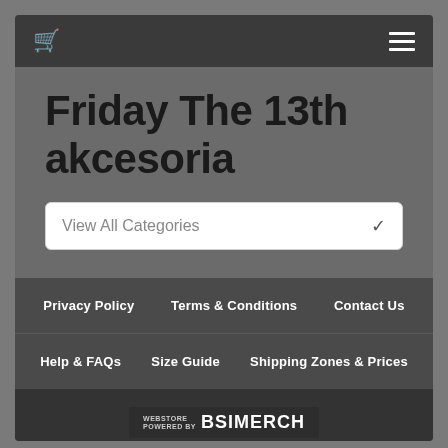Navigation bar with cart icon and menu icon
Friday The 13th akcesoria
View All Categories
Privacy Policy | Terms & Conditions | Contact Us | Help & FAQs | Size Guide | Shipping Zones & Prices | Returns
[Figure (logo): BSI Merch webstore logo - text reads WEBSTORE POWERED BY BSI MERCH]